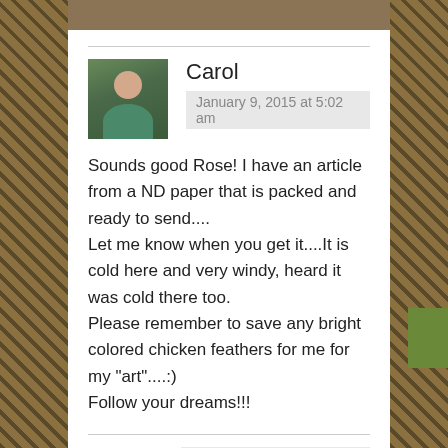[Figure (photo): Carol's profile photo showing a woman outdoors in green/teal clothing]
Carol
January 9, 2015 at 5:02 am
Sounds good Rose! I have an article from a ND paper that is packed and ready to send....
Let me know when you get it....It is cold here and very windy, heard it was cold there too.
Please remember to save any bright colored chicken feathers for me for my "art"....:)
Follow your dreams!!!
[Figure (logo): Rose's logo - circular emblem with animal silhouette and text Pasture Rose]
Rose
January 9, 2015 at 3:49 pm